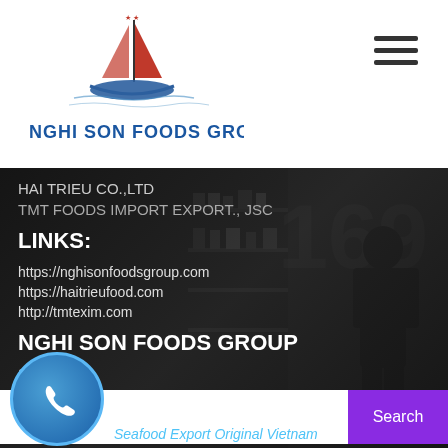[Figure (logo): Nghi Son Foods Group logo with red sailboat icon above a boat silhouette, blue text reading NGHI SON FOODS GROUP]
[Figure (other): Hamburger menu icon with three horizontal bars]
HAI TRIEU CO.,LTD
TMT FOODS IMPORT EXPORT., JSC
LINKS:
https://nghisonfoodsgroup.com
https://haitrieufood.com
http://tmtexim.com
NGHI SON FOODS GROUP
Search
Search ...
Search
Seafood Export Original Vietnam